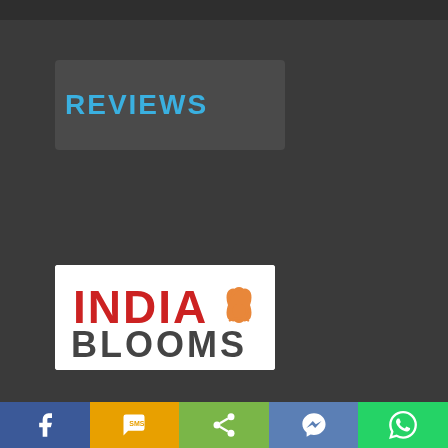REVIEWS
[Figure (logo): India Blooms logo — red INDIA text with orange lotus flower icon, grey BLOOMS text below]
[Figure (logo): Partial logo at bottom, partially visible with blue arc/circle icon and letter I]
Social share bar: Facebook, SMS, Share, Messenger, WhatsApp